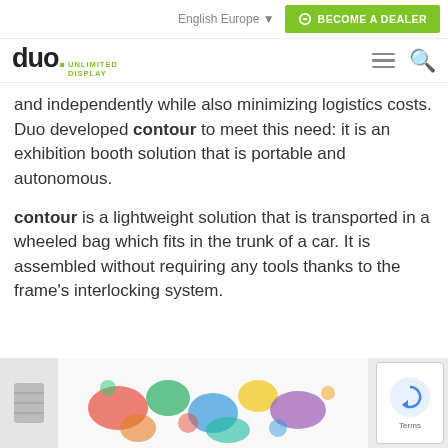English Europe | BECOME A DEALER
duo. UNLIMITED DISPLAY
and independently while also minimizing logistics costs. Duo developed contour to meet this need: it is an exhibition booth solution that is portable and autonomous.
contour is a lightweight solution that is transported in a wheeled bag which fits in the trunk of a car. It is assembled without requiring any tools thanks to the frame's interlocking system.
[Figure (photo): Partial view of a colorful display product with a reCAPTCHA widget in bottom-right corner]